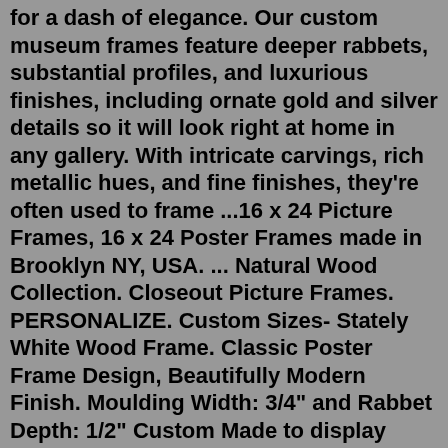for a dash of elegance. Our custom museum frames feature deeper rabbets, substantial profiles, and luxurious finishes, including ornate gold and silver details so it will look right at home in any gallery. With intricate carvings, rich metallic hues, and fine finishes, they're often used to frame ...16 x 24 Picture Frames, 16 x 24 Poster Frames made in Brooklyn NY, USA. ... Natural Wood Collection. Closeout Picture Frames. PERSONALIZE. Custom Sizes- Stately White Wood Frame. Classic Poster Frame Design, Beautifully Modern Finish. Moulding Width: 3/4" and Rabbet Depth: 1/2" Custom Made to display artwork, photos, documents, instagram photos, autographs, sports shot, diplomas, message boards, mirrors, and media measuring 16x24 inches. Solid wood construction with glued and v-nailed corners. The Richmond 16 x 24 Wood Shed Kit is built like a house with wall studs 16 in. on center and can be used for a second home, a cabin, a workshop, or office. 1-800-276-0210 [email protected] 8 am – 10 pm MST daily.3+ day shipping. Craig Frames FM26WA 20x30